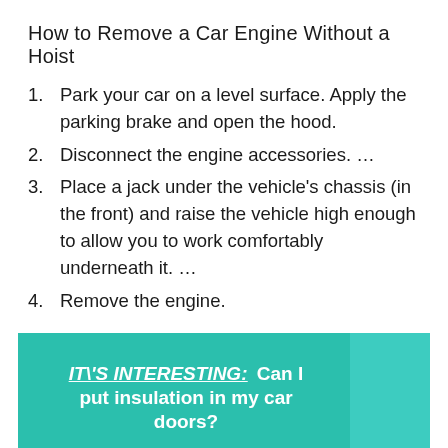How to Remove a Car Engine Without a Hoist
Park your car on a level surface. Apply the parking brake and open the hood.
Disconnect the engine accessories. ...
Place a jack under the vehicle's chassis (in the front) and raise the vehicle high enough to allow you to work comfortably underneath it. ...
Remove the engine.
IT\'S INTERESTING: Can I put insulation in my car doors?